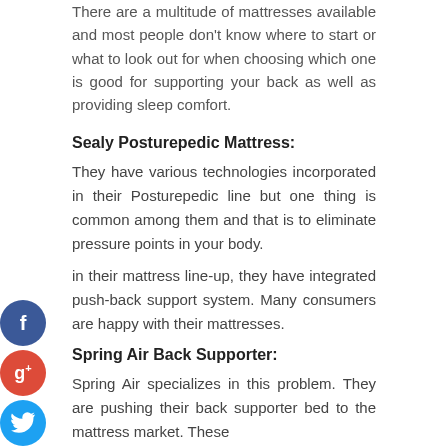There are a multitude of mattresses available and most people don't know where to start or what to look out for when choosing which one is good for supporting your back as well as providing sleep comfort.
Sealy Posturepedic Mattress:
They have various technologies incorporated in their Posturepedic line but one thing is common among them and that is to eliminate pressure points in your body.
in their mattress line-up, they have integrated push-back support system. Many consumers are happy with their mattresses.
Spring Air Back Supporter:
Spring Air specializes in this problem. They are pushing their back supporter bed to the mattress market. These